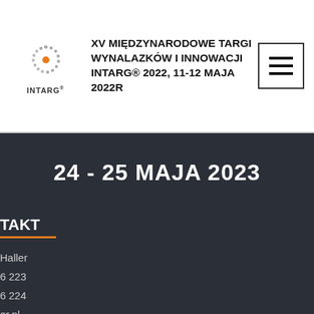[Figure (logo): INTARG logo - circular dotted pattern with orange center dot, text INTARG below]
XV MIĘDZYNARODOWE TARGI WYNALAZKÓW I INNOWACJI INTARG® 2022, 11-12 MAJA 2022R
[Figure (illustration): Hamburger menu icon - three horizontal lines in a square border]
24 - 25 MAJA 2023
TAKT
Haller
6 223
6 224
er.pl